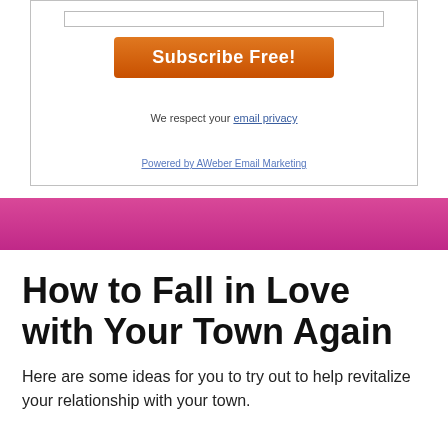[Figure (other): Input bar at top of subscription form]
Subscribe Free!
We respect your email privacy
Powered by AWeber Email Marketing
[Figure (other): Pink/magenta decorative horizontal bar]
How to Fall in Love with Your Town Again
Here are some ideas for you to try out to help revitalize your relationship with your town.